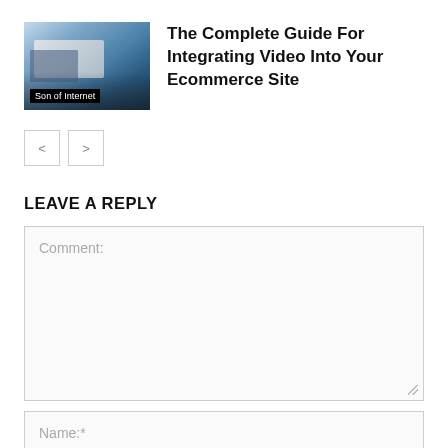[Figure (photo): Thumbnail image of hands on laptop with 'Son of Internet' label overlay]
The Complete Guide For Integrating Video Into Your Ecommerce Site
< >  (navigation buttons)
LEAVE A REPLY
Comment:
Name:*